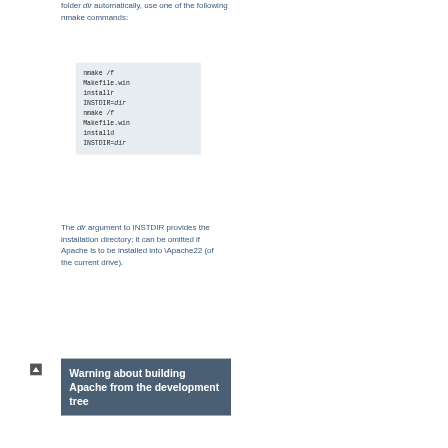folder dir automatically, use one of the following nmake commands:
[Figure (screenshot): Code block with light blue background showing nmake commands: 'nmake /f Makefile.win installr INSTDIR=dir' and 'nmake /f Makefile.win installd INSTDIR=dir']
The dir argument to INSTDIR provides the installation directory; it can be omitted if Apache is to be installed into \Apache22 (of the current drive).
Warning about building Apache from the development tree